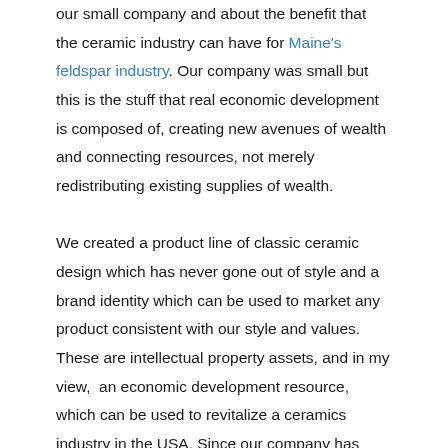our small company and about the benefit that the ceramic industry can have for Maine's feldspar industry. Our company was small but this is the stuff that real economic development is composed of, creating new avenues of wealth and connecting resources, not merely redistributing existing supplies of wealth.

We created a product line of classic ceramic design which has never gone out of style and a brand identity which can be used to market any product consistent with our style and values. These are intellectual property assets, and in my view,  an economic development resource, which can be used to revitalize a ceramics industry in the USA. Since our company has never had shareholders, we were not obligated to maximize our profit by relocating our production to low costs global labor markets, which is where most western ceramics companies produce today. I envision expanding our production through a network of independently owned, licensed production with a home and brand name